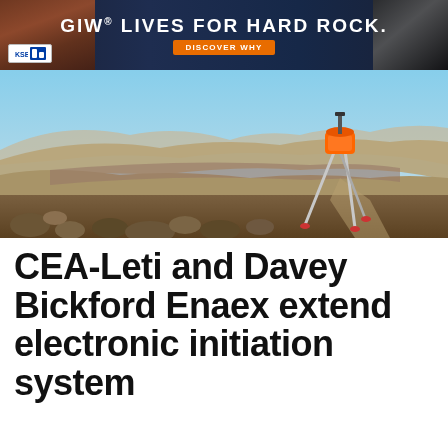[Figure (other): GIW banner advertisement: 'GIW® LIVES FOR HARD ROCK.' with KSB logo and DISCOVER WHY button on dark blue/industrial background]
[Figure (photo): Panoramic photo of an open-pit mine or quarry with rocky terrain, hills in the background under blue sky, and an orange surveying instrument on a tripod in the foreground right]
CEA-Leti and Davey Bickford Enaex extend electronic initiation system